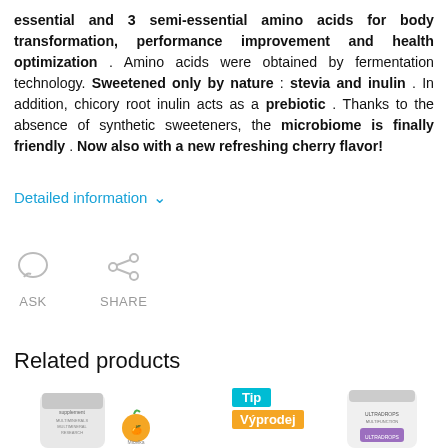essential and 3 semi-essential amino acids for body transformation, performance improvement and health optimization . Amino acids were obtained by fermentation technology. Sweetened only by nature : stevia and inulin . In addition, chicory root inulin acts as a prebiotic . Thanks to the absence of synthetic sweeteners, the microbiome is finally friendly . Now also with a new refreshing cherry flavor!
Detailed information ∨
[Figure (other): ASK and SHARE action icons — speech bubble icon labeled ASK, share icon labeled SHARE]
Related products
[Figure (photo): Two product cards side by side. Left: a white/grey supplement powder container. Right: a white supplement bottle with Tip and Výprodej (sale) badges, and an orange emoji icon.]